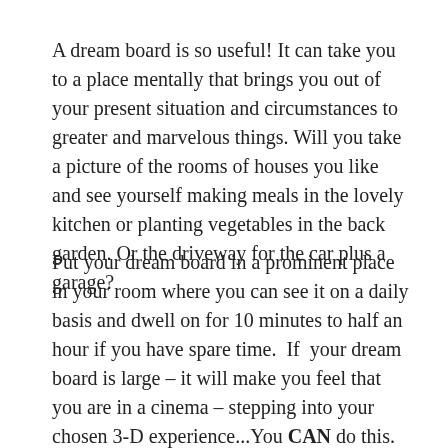A dream board is so useful! It can take you to a place mentally that brings you out of your present situation and circumstances to greater and marvelous things. Will you take a picture of the rooms of houses you like and see yourself making meals in the lovely kitchen or planting vegetables in the back garden. Or the driveway for the car plus a garage?
Put your dream board in a prominent place in your room where you can see it on a daily basis and dwell on for 10 minutes to half an hour if you have spare time.  If  your dream board is large – it will make you feel that you are in a cinema – stepping into your chosen 3-D experience...You CAN do this.  However, if it is